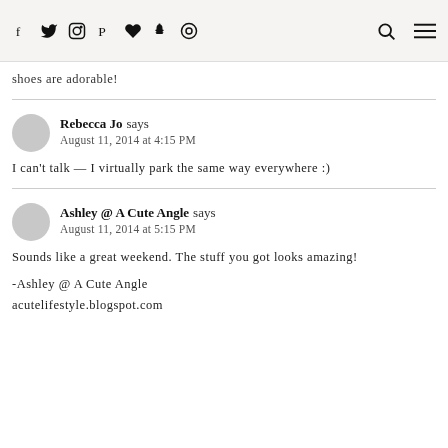Social icons: f, Twitter, Instagram, Pinterest, Heart, Snapchat, Circle; Search icon; Menu icon
shoes are adorable!
Rebecca Jo says
August 11, 2014 at 4:15 PM
I can't talk — I virtually park the same way everywhere :)
Ashley @ A Cute Angle says
August 11, 2014 at 5:15 PM
Sounds like a great weekend. The stuff you got looks amazing!
-Ashley @ A Cute Angle
acutelifestyle.blogspot.com